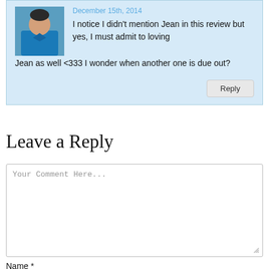December 15th, 2014
I notice I didn't mention Jean in this review but yes, I must admit to loving Jean as well <333 I wonder when another one is due out?
Reply
Leave a Reply
Your Comment Here...
Name *